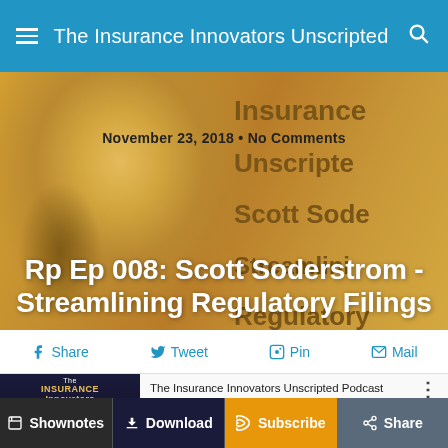The Insurance Innovators Unscripted
[Figure (photo): Golden-tinted hero image featuring a person's face with text overlay showing Insurance Unscripted, Scott Soderstrom, Streamlining, Regulatory branding text on the right side]
November 23, 2018 • No Comments
Rp Ep 008: Scott Soderstrom -Streamlining Regulatory Filings
f Share   Tweet   Pin   Mail
[Figure (other): Podcast player widget showing The Insurance Innovators Unscripted Podcast with play button, progress bar showing 0:00, playback controls including rewind 15, 1x speed, forward 15, and volume buttons]
Shownotes   Download   Subscribe   Share